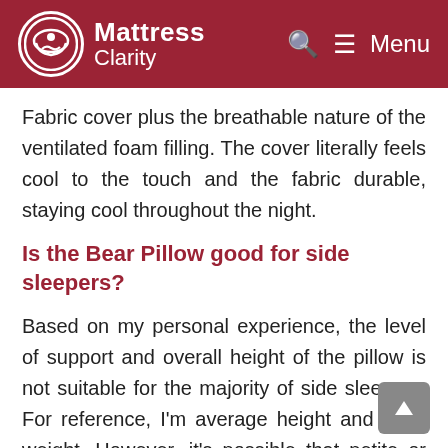Mattress Clarity
Fabric cover plus the breathable nature of the ventilated foam filling. The cover literally feels cool to the touch and the fabric durable, staying cool throughout the night.
Is the Bear Pillow good for side sleepers?
Based on my personal experience, the level of support and overall height of the pillow is not suitable for the majority of side sleepers. For reference, I'm average height and body weight. However, it's possible that petite or smaller sized individuals who sleep on their sides will find enough support with the pillow.